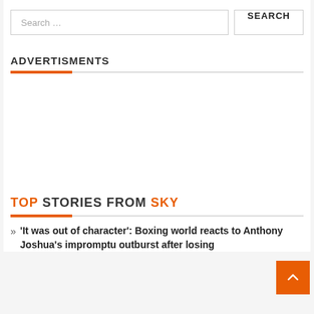Search …
ADVERTISMENTS
TOP STORIES FROM SKY
» 'It was out of character': Boxing world reacts to Anthony Joshua's impromptu outburst after losing